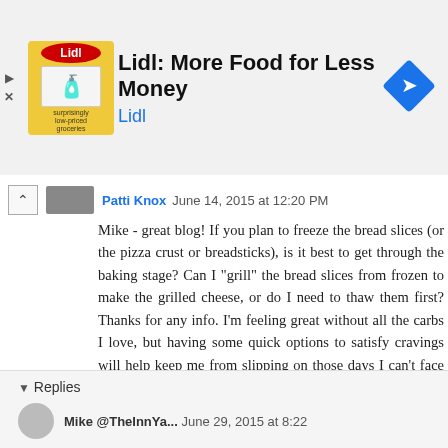[Figure (screenshot): Lidl advertisement banner: Lidl logo/icon on left, bold text 'Lidl: More Food for Less Money', subtitle 'Lidl' in blue, blue diamond navigation icon on right. Small play and X controls on far left.]
Patti Knox June 14, 2015 at 12:20 PM
Mike - great blog! If you plan to freeze the bread slices (or the pizza crust or breadsticks), is it best to get through the baking stage? Can I "grill" the bread slices from frozen to make the grilled cheese, or do I need to thaw them first? Thanks for any info. I'm feeling great without all the carbs I love, but having some quick options to satisfy cravings will help keep me from slipping on those days I can't face waiting an hour, digging out the food processor, the clean dish towel... :)
Reply
▼ Replies
Mike @TheInnYa... June 29, 2015 at 8:22